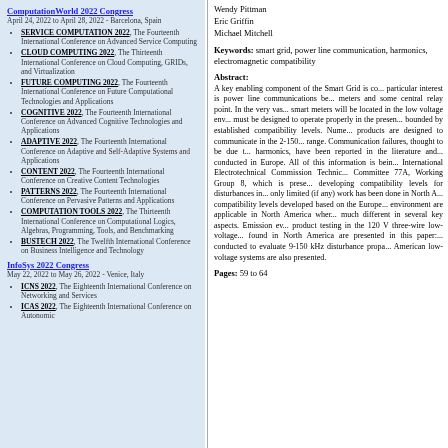ComputationWorld 2022 Congress
April 24, 2022 to April 28, 2022 - Barcelona, Spain
SERVICE COMPUTATION 2022, The Fourteenth International Conference on Advanced Service Computing
CLOUD COMPUTING 2022, The Thirteenth International Conference on Cloud Computing, GRIDs, and Virtualization
FUTURE COMPUTING 2022, The Fourteenth International Conference on Future Computational Technologies and Applications
COGNITIVE 2022, The Fourteenth International Conference on Advanced Cognitive Technologies and Applications
ADAPTIVE 2022, The Fourteenth International Conference on Adaptive and Self-Adaptive Systems and Applications
CONTENT 2022, The Fourteenth International Conference on Creative Content Technologies
PATTERNS 2022, The Fourteenth International Conference on Pervasive Patterns and Applications
COMPUTATION TOOLS 2022, The Thirteenth International Conference on Computational Logics, Algebras, Programming, Tools, and Benchmarking
BUSTECH 2022, The Twelfth International Conference on Business Intelligence and Technology
InfoSys 2022 Congress
May 22, 2022 to May 26, 2022 - Venice, Italy
ICNS 2022, The Eighteenth International Conference on Networking and Services
ICAS 2022, The Eighteenth International Conference on Autonomic
Wendy Pittman
Eric Griffin
Michael Mitchell
Keywords: smart grid, power line communication, harmonics, electromagnetic compatibility
Abstract:
A key enabling component of the Smart Grid is co... particular interest is power line communications be... meters and some central relay point. In the very vas... smart meters will be located in the low voltage env... must be designed to operate properly in the presen... bounded by established compatibility levels. Nume... products are designed to communicate in the 2-150... range. Communication failures, thought to be due t... harmonics, have been reported in the literature and... conducted in Europe. All of this information is bein... International Electrotechnical Commission Technic... Committee 77A, Working Group 8, which is prese... developing compatibility levels for disturbances in... only limited (if any) work has been done in North A... compatibility levels developed based on the Europe... environment are applicable in North America wher... much different in several key aspects. Emission ev... product testing in the 120 V three-wire low-voltage... found in North America are presented in this paper:... conducted to evaluate 9-150 kHz disturbance propa... American low-voltage systems are also presented.
Pages: 59 to 64